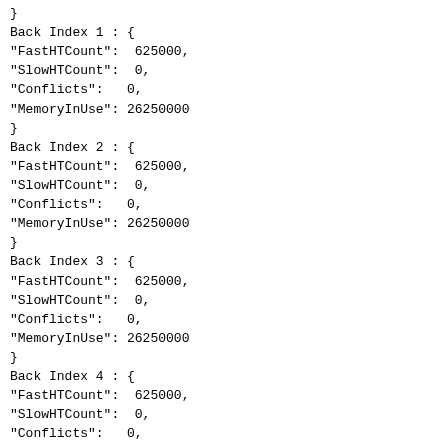}
Back Index 1 : {
"FastHTCount":  625000,
"SlowHTCount":  0,
"Conflicts":   0,
"MemoryInUse": 26250000
}
Back Index 2 : {
"FastHTCount":  625000,
"SlowHTCount":  0,
"Conflicts":   0,
"MemoryInUse": 26250000
}
Back Index 3 : {
"FastHTCount":  625000,
"SlowHTCount":  0,
"Conflicts":   0,
"MemoryInUse": 26250000
}
Back Index 4 : {
"FastHTCount":  625000,
"SlowHTCount":  0,
"Conflicts":   0,
"MemoryInUse": 26250000
}
Back Index 5 : {
"FastHTCount":  625000,
"SlowHTCount":  0,
"Conflicts":   0,
"MemoryInUse": 26250000